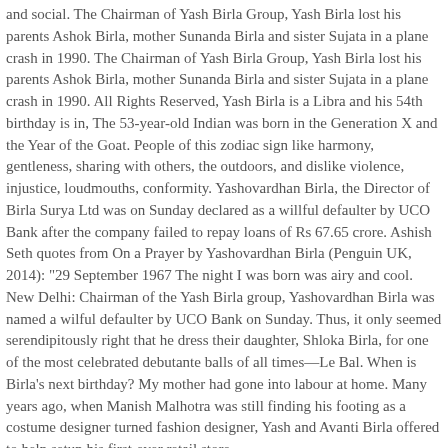and social. The Chairman of Yash Birla Group, Yash Birla lost his parents Ashok Birla, mother Sunanda Birla and sister Sujata in a plane crash in 1990. The Chairman of Yash Birla Group, Yash Birla lost his parents Ashok Birla, mother Sunanda Birla and sister Sujata in a plane crash in 1990. All Rights Reserved, Yash Birla is a Libra and his 54th birthday is in, The 53-year-old Indian was born in the Generation X and the Year of the Goat. People of this zodiac sign like harmony, gentleness, sharing with others, the outdoors, and dislike violence, injustice, loudmouths, conformity. Yashovardhan Birla, the Director of Birla Surya Ltd was on Sunday declared as a willful defaulter by UCO Bank after the company failed to repay loans of Rs 67.65 crore. Ashish Seth quotes from On a Prayer by Yashovardhan Birla (Penguin UK, 2014): "29 September 1967 The night I was born was airy and cool. New Delhi: Chairman of the Yash Birla group, Yashovardhan Birla was named a wilful defaulter by UCO Bank on Sunday. Thus, it only seemed serendipitously right that he dress their daughter, Shloka Birla, for one of the most celebrated debutante balls of all times—Le Bal. When is Birla's next birthday? My mother had gone into labour at home. Many years ago, when Manish Malhotra was still finding his footing as a costume designer turned fashion designer, Yash and Avanti Birla offered to help setup his first-ever retail store.